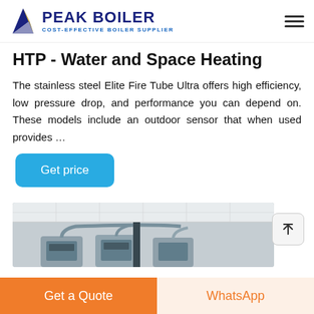PEAK BOILER COST-EFFECTIVE BOILER SUPPLIER
HTP - Water and Space Heating
The stainless steel Elite Fire Tube Ultra offers high efficiency, low pressure drop, and performance you can depend on. These models include an outdoor sensor that when used provides ...
Get price
[Figure (photo): Industrial boiler room with multiple large stainless steel boiler units connected by pipes, inside a facility with a tiled ceiling.]
Get a Quote
WhatsApp